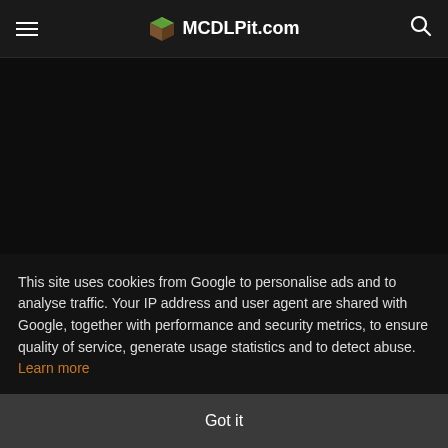MCDLPit.com
[Figure (screenshot): Dark content area — advertisement or placeholder region]
This site uses cookies from Google to personalise ads and to analyse traffic. Your IP address and user agent are shared with Google, together with performance and security metrics, to ensure quality of service, generate usage statistics and to detect abuse. Learn more
Got it